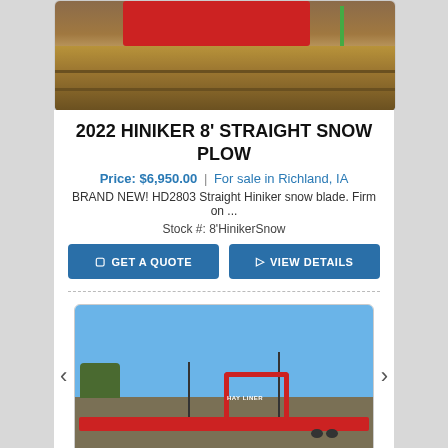[Figure (photo): Photo of red snow plow blade equipment resting on wooden pallets over gravel/dirt ground, partial view showing top portion]
2022 HINIKER 8' STRAIGHT SNOW PLOW
Price: $6,950.00 | For sale in Richland, IA
BRAND NEW! HD2803 Straight Hiniker snow blade. Firm on ...
Stock #: 8'HinikerSnow
GET A QUOTE
VIEW DETAILS
[Figure (photo): Photo of a red flatbed/equipment trailer in a parking lot with utility poles and blue sky in background, red gooseneck arch visible on trailer]